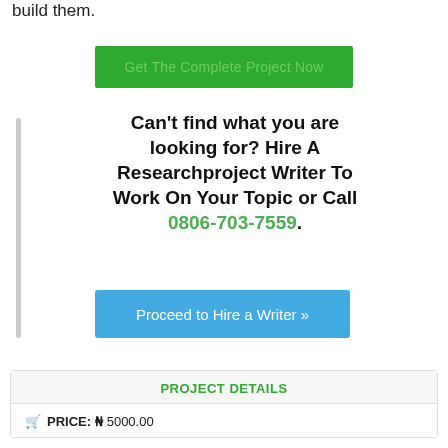build them.
[Figure (other): Green button labeled 'Get The Complete Project Now']
Can't find what you are looking for? Hire A Researchproject Writer To Work On Your Topic or Call 0806-703-7559.
[Figure (other): Blue button labeled 'Proceed to Hire a Writer »']
PROJECT DETAILS
PRICE: ₦ 5000.00